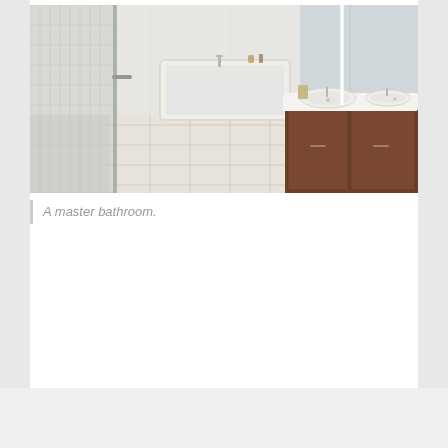[Figure (photo): A modern master bathroom with glass shower enclosure on the left, a freestanding bathtub in the center background, and a long dark wood vanity with white countertop and vessel sinks on the right. The room has white tile floors and walls.]
A master bathroom.